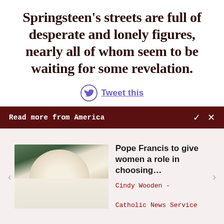Springsteen’s streets are full of desperate and lonely figures, nearly all of whom seem to be waiting for some revelation.
Tweet this
Read more from America
[Figure (photo): Photo of Pope Francis in white vestments, gesturing with hand]
Pope Francis to give women a role in choosing…
Cindy Wooden -
Catholic News Service